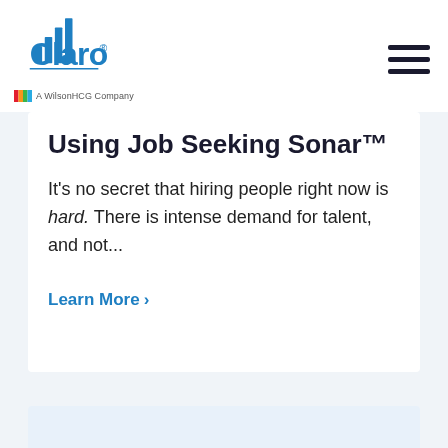[Figure (logo): Claro logo with bar chart icon above text, subtitle 'A WilsonHCG Company']
Using Job Seeking Sonar™
It's no secret that hiring people right now is hard. There is intense demand for talent, and not...
Learn More ›
[Figure (photo): Partial photo of a person visible at bottom of page]